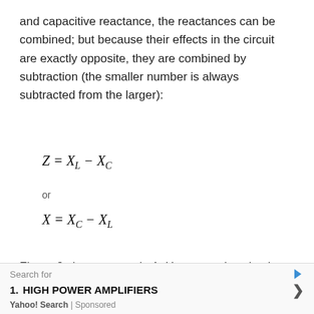and capacitive reactance, the reactances can be combined; but because their effects in the circuit are exactly opposite, they are combined by subtraction (the smaller number is always subtracted from the larger):
or
Figure 9 shows example 1. Here, a series circuit containing a resistor and an inductor are connected to a source of 110 volts at 60 cycles per second. The
Search for
1. HIGH POWER AMPLIFIERS
Yahoo! Search | Sponsored